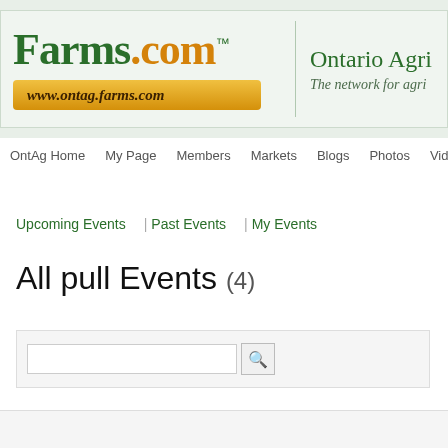[Figure (logo): Farms.com logo with www.ontag.farms.com URL and Ontario Agriculture section header]
OntAg Home  My Page  Members  Markets  Blogs  Photos  Videos
Upcoming Events   Past Events   My Events
All pull Events (4)
Search input field with search icon button
Jul 17  [dropdown]  Starting Period / From  Date